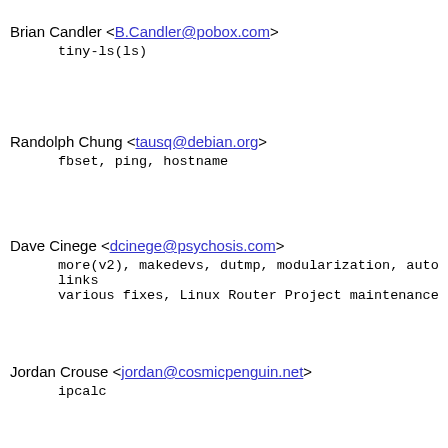Brian Candler <B.Candler@pobox.com>
tiny-ls(ls)
Randolph Chung <tausq@debian.org>
fbset, ping, hostname
Dave Cinege <dcinege@psychosis.com>
more(v2), makedevs, dutmp, modularization, auto links
various fixes, Linux Router Project maintenance
Jordan Crouse <jordan@cosmicpenguin.net>
ipcalc